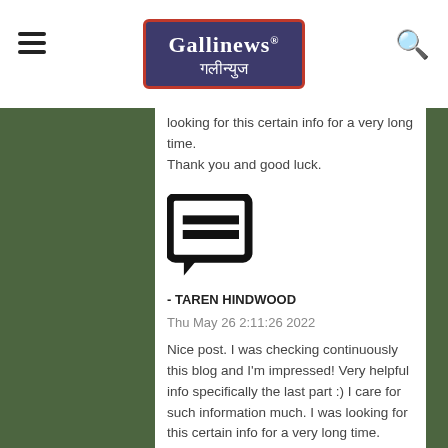Gallinews गलीन्युज
looking for this certain info for a very long time. Thank you and good luck.
[Figure (illustration): Comment icon — black speech bubble with two horizontal lines inside]
- TAREN HINDWOOD    Thu May 26 2:11:26 2022
Nice post. I was checking continuously this blog and I'm impressed! Very helpful info specifically the last part :) I care for such information much. I was looking for this certain info for a very long time. Thank you and good luck.
[Figure (illustration): Comment icon — black speech bubble with two horizontal lines inside (partially visible at bottom)]